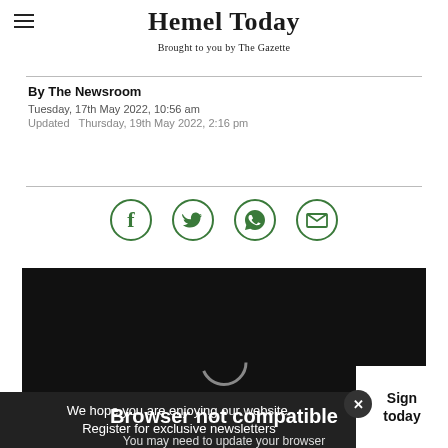Hemel Today — Brought to you by The Gazette
By The Newsroom
Tuesday, 17th May 2022, 10:56 am
Updated  Thursday, 19th May 2022, 2:16 pm
[Figure (infographic): Social share icons: Facebook, Twitter, WhatsApp, Email — all in green circle outlines]
[Figure (screenshot): Dark video embed area showing a loading spinner and text: Browser not compatible — You may need to update your browser]
We hope you are enjoying our website. Register for exclusive newsletters